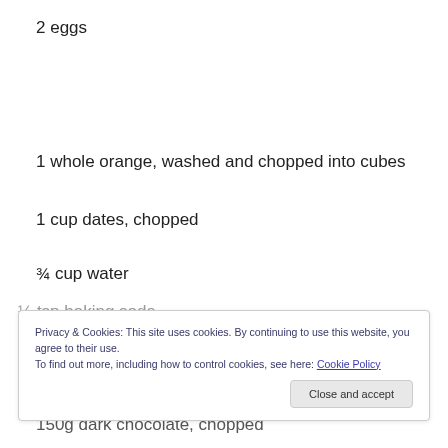2 eggs
1 whole orange, washed and chopped into cubes
1 cup dates, chopped
¾ cup water
Privacy & Cookies: This site uses cookies. By continuing to use this website, you agree to their use.
To find out more, including how to control cookies, see here: Cookie Policy
150g dark chocolate, chopped